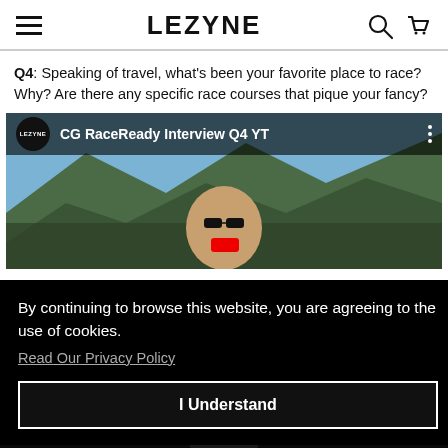LEZYNE (navigation header with hamburger menu, search, cart icons)
Q4: Speaking of travel, what's been your favorite place to race? Why? Are there any specific race courses that pique your fancy?
[Figure (screenshot): YouTube video thumbnail titled 'CG RaceReady Interview Q4 YT' with Lezyne logo circle, showing a man with sunglasses outdoors with mountain backdrop]
By continuing to browse this website, you are agreeing to the use of cookies. Read Our Privacy Policy
I Understand
[Figure (photo): Partial bottom image strip showing dark/black background with partial circular object]